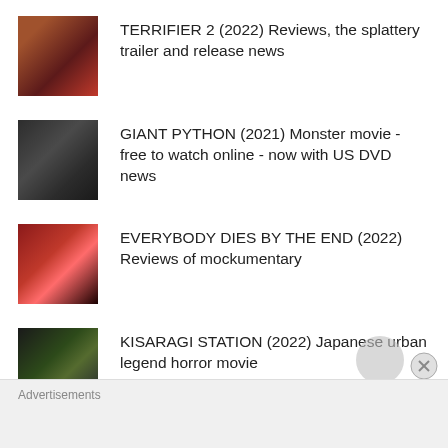TERRIFIER 2 (2022) Reviews, the splattery trailer and release news
GIANT PYTHON (2021) Monster movie - free to watch online - now with US DVD news
EVERYBODY DIES BY THE END (2022) Reviews of mockumentary
KISARAGI STATION (2022) Japanese urban legend horror movie
CONJURING THE BEYOND (2022)
Advertisements